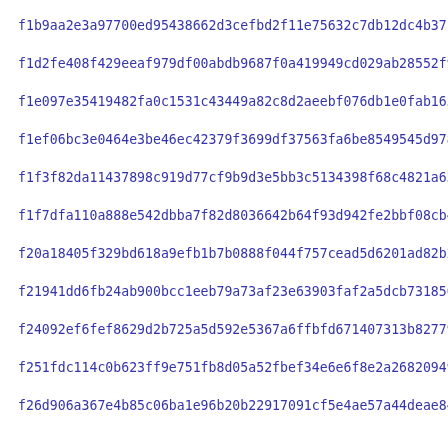f1b9aa2e3a97700ed95438662d3cefbd2f11e75632c7db12dc4b37c35c791
f1d2fe408f429eeaf979df00abdb9687f0a419949cd029ab28552f9ea3eab
f1e097e35419482fa0c1531c43449a82c8d2aeebf076db1e0fab16564d5c7
f1ef06bc3e0464e3be46ec42379f3699df37563fa6be8549545d978c7e8f5
f1f3f82da11437898c919d77cf9b9d3e5bb3c5134398f68c4821a63bd4936
f1f7dfa110a888e542dbba7f82d8036642b64f93d942fe2bbf08cb4461f00
f20a18405f329bd618a9efb1b7b0888f044f757cead5d6201ad82b2c13bf1
f21941dd6fb24ab900bcc1eeb79a73af23e63903faf2a5dcb731850fbe48f
f24092ef6fef8629d2b725a5d592e5367a6ffbfd671407313b8277979a433
f251fdc114c0b623ff9e751fb8d05a52fbef34e6e6f8e2a26820949daba60
f26d906a367e4b85c06ba1e96b20b22917091cf5e4ae57a44deae84dfe50d